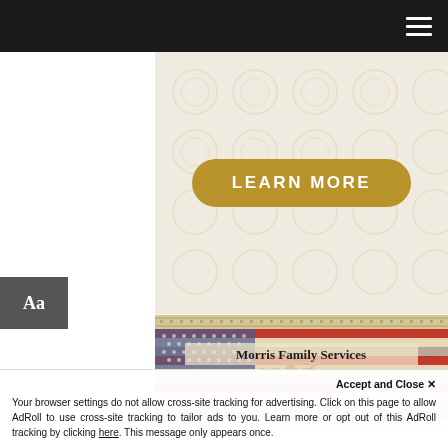[Figure (screenshot): Dark navigation bar with hamburger menu icon (three white horizontal lines) on the right]
[Figure (infographic): Cream/beige patterned banner ad with a gold rounded button labeled LEARN MORE in white bold uppercase text]
[Figure (infographic): Text accessibility tab labeled 'Aa' in white on gray background on the left edge]
[Figure (infographic): Morris Family Services American Flag retirement product banner ad with patriotic flag imagery, script text 'American Flag' in white, and 'RETIREMENT' watermark text]
Accept and Close X
Your browser settings do not allow cross-site tracking for advertising. Click on this page to allow AdRoll to use cross-site tracking to tailor ads to you. Learn more or opt out of this AdRoll tracking by clicking here. This message only appears once.